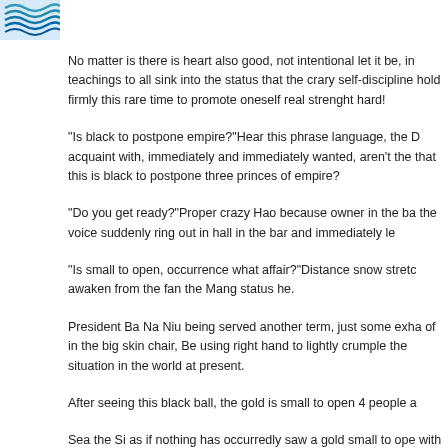[Figure (logo): Blue wavy lines logo in top-left corner]
No matter is there is heart also good, not intentional let it be, in teachings to all sink into the status that the crary self-discipline hold firmly this rare time to promote oneself real strenght hard!
"Is black to postpone empire?"Hear this phrase language, the D acquaint with, immediately and immediately wanted, aren't the that this is black to postpone three princes of empire?
"Do you get ready?"Proper crazy Hao because owner in the ba the voice suddenly ring out in hall in the bar and immediately le
"Is small to open, occurrence what affair?"Distance snow stretc awaken from the fan the Mang status he.
President Ba Na Niu being served another term, just some exha of in the big skin chair, Be using right hand to lightly crumple the situation in the world at present.
After seeing this black ball, the gold is small to open 4 people a
Sea the Si as if nothing has occurredly saw a gold small to ope with very much to the Earth?"
"In addition to Xuan front Zon...